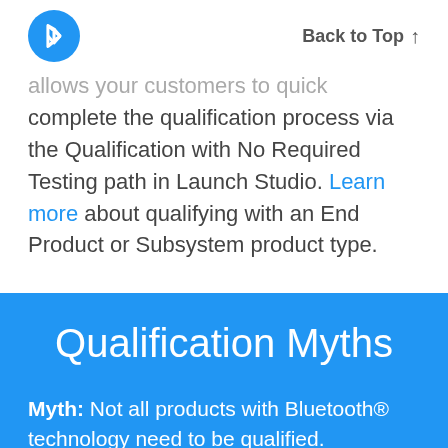Back to Top ↑
allows your customers to quick complete the qualification process via the Qualification with No Required Testing path in Launch Studio. Learn more about qualifying with an End Product or Subsystem product type.
Qualification Myths
Myth: Not all products with Bluetooth® technology need to be qualified.
Fact: All products incorporating Bluetooth technology and using the Bluetooth Trademarks must undergo and pass the Bluetooth Qualification